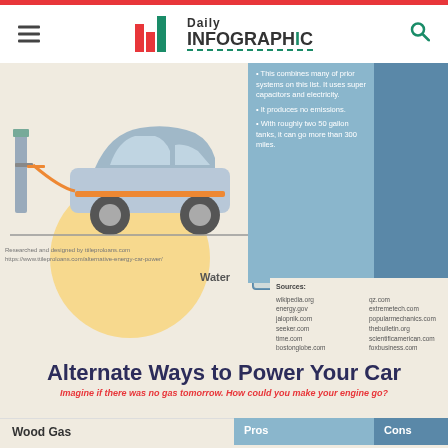[Figure (logo): Daily Infographic website logo with bar chart icon]
[Figure (infographic): Partial infographic showing a car at a charging station with water label, pros/cons columns in blue, and sources list]
Alternate Ways to Power Your Car
Imagine if there was no gas tomorrow. How could you make your engine go?
| Wood Gas | Pros | Cons |
| --- | --- | --- |
|  |  |  |
Sources: wikipedia.org energy.gov jalopnik.com seeker.com time.com bostonglobe.com cnn.com qz.com extremetech.com popularmechanics.com thebulletin.org scientificamerican.com foxbusiness.com cnet.com dailymail.co.uk bbc.com
Researched and designed by ttileproloans.com https://www.ttileproloans.com/alternative-energy-car-power/